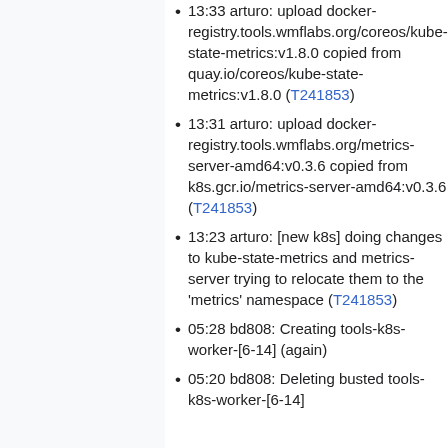13:33 arturo: upload docker-registry.tools.wmflabs.org/coreos/kube-state-metrics:v1.8.0 copied from quay.io/coreos/kube-state-metrics:v1.8.0 (T241853)
13:31 arturo: upload docker-registry.tools.wmflabs.org/metrics-server-amd64:v0.3.6 copied from k8s.gcr.io/metrics-server-amd64:v0.3.6 (T241853)
13:23 arturo: [new k8s] doing changes to kube-state-metrics and metrics-server trying to relocate them to the 'metrics' namespace (T241853)
05:28 bd808: Creating tools-k8s-worker-[6-14] (again)
05:20 bd808: Deleting busted tools-k8s-worker-[6-14]